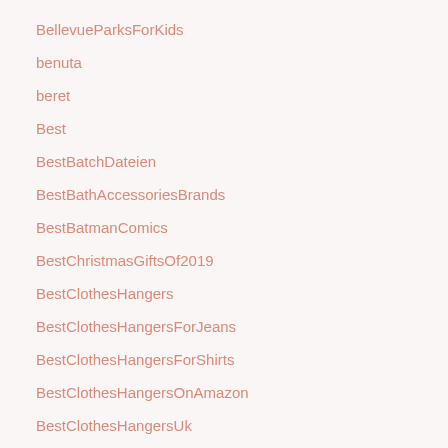BellevueParksForKids
benuta
beret
Best
BestBatchDateien
BestBathAccessoriesBrands
BestBatmanComics
BestChristmasGiftsOf2019
BestClothesHangers
BestClothesHangersForJeans
BestClothesHangersForShirts
BestClothesHangersOnAmazon
BestClothesHangersUk
BestDoubleStroller